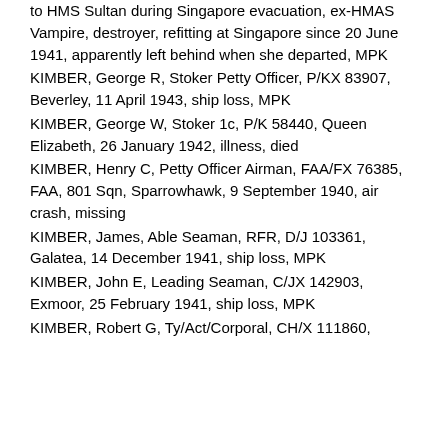to HMS Sultan during Singapore evacuation, ex-HMAS Vampire, destroyer, refitting at Singapore since 20 June 1941, apparently left behind when she departed, MPK
KIMBER, George R, Stoker Petty Officer, P/KX 83907, Beverley, 11 April 1943, ship loss, MPK
KIMBER, George W, Stoker 1c, P/K 58440, Queen Elizabeth, 26 January 1942, illness, died
KIMBER, Henry C, Petty Officer Airman, FAA/FX 76385, FAA, 801 Sqn, Sparrowhawk, 9 September 1940, air crash, missing
KIMBER, James, Able Seaman, RFR, D/J 103361, Galatea, 14 December 1941, ship loss, MPK
KIMBER, John E, Leading Seaman, C/JX 142903, Exmoor, 25 February 1941, ship loss, MPK
KIMBER, Robert G, Ty/Act/Corporal, CH/X 111860,